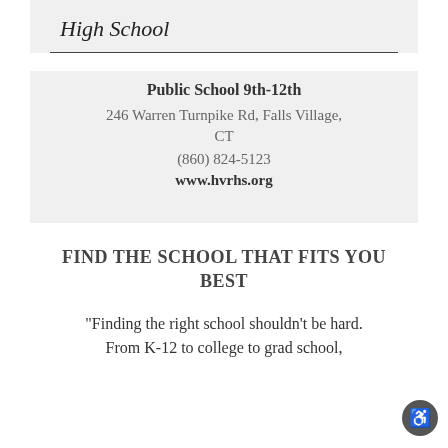High School
Public School 9th-12th
246 Warren Turnpike Rd, Falls Village, CT
(860) 824-5123
www.hvrhs.org
FIND THE SCHOOL THAT FITS YOU BEST
“Finding the right school shouldn’t be hard. From K-12 to college to grad school,